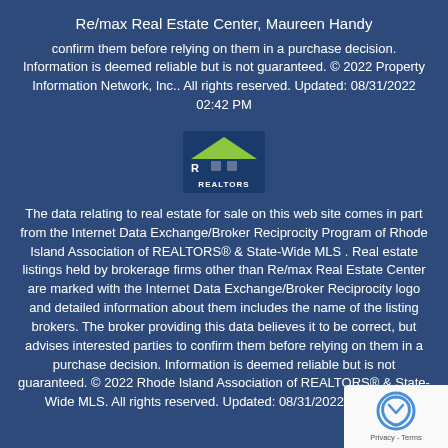Re/max Real Estate Center, Maureen Handy
confirm them before relying on them in a purchase decision. Information is deemed reliable but is not guaranteed. © 2022 Property Information Network, Inc.. All rights reserved. Updated: 08/31/2022 02:42 PM
[Figure (logo): REALTORS logo with green roof/house icon and blue background]
The data relating to real estate for sale on this web site comes in part from the Internet Data Exchange/Broker Reciprocity Program of Rhode Island Association of REALTORS® & State-Wide MLS . Real estate listings held by brokerage firms other than Re/max Real Estate Center are marked with the Internet Data Exchange/Broker Reciprocity logo and detailed information about them includes the name of the listing brokers. The broker providing this data believes it to be correct, but advises interested parties to confirm them before relying on them in a purchase decision. Information is deemed reliable but is not guaranteed. © 2022 Rhode Island Association of REALTORS® & State-Wide MLS. All rights reserved. Updated: 08/31/2022 02:42 PM